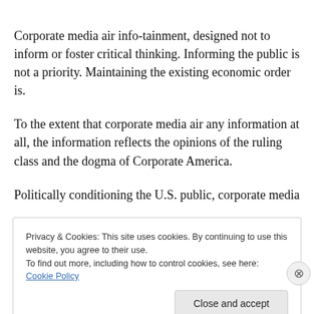Corporate media air info-tainment, designed not to inform or foster critical thinking. Informing the public is not a priority. Maintaining the existing economic order is.
To the extent that corporate media air any information at all, the information reflects the opinions of the ruling class and the dogma of Corporate America.
Politically conditioning the U.S. public, corporate media
Privacy & Cookies: This site uses cookies. By continuing to use this website, you agree to their use.
To find out more, including how to control cookies, see here: Cookie Policy
Close and accept